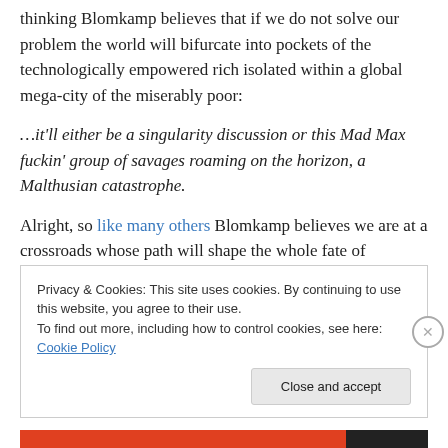thinking Blomkamp believes that if we do not solve our problem the world will bifurcate into pockets of the technologically empowered rich isolated within a global mega-city of the miserably poor:
…it'll either be a singularity discussion or this Mad Max fuckin' group of savages roaming on the horizon, a Malthusian catastrophe.
Alright, so like many others Blomkamp believes we are at a crossroads whose path will shape the whole fate of
Privacy & Cookies: This site uses cookies. By continuing to use this website, you agree to their use. To find out more, including how to control cookies, see here: Cookie Policy